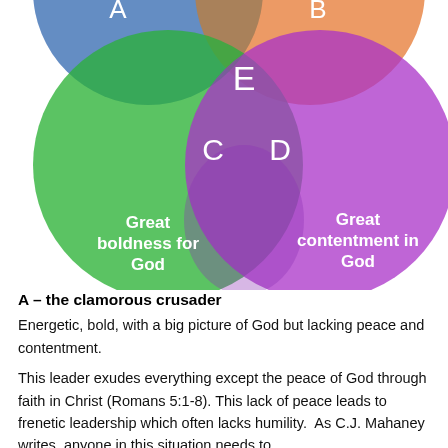[Figure (infographic): Venn diagram with three overlapping circles. Top-left blue circle, top-right orange circle (partially visible), left green circle labeled 'Great boldness for God', right purple/magenta circle labeled 'Great contentment in God'. The overlapping center region labeled E, left-center overlap labeled C, right-center overlap labeled D. Labels A and B visible at top.]
A – the clamorous crusader
Energetic, bold, with a big picture of God but lacking peace and contentment.
This leader exudes everything except the peace of God through faith in Christ (Romans 5:1-8). This lack of peace leads to frenetic leadership which often lacks humility.  As C.J. Mahaney writes, anyone in this situation needs to